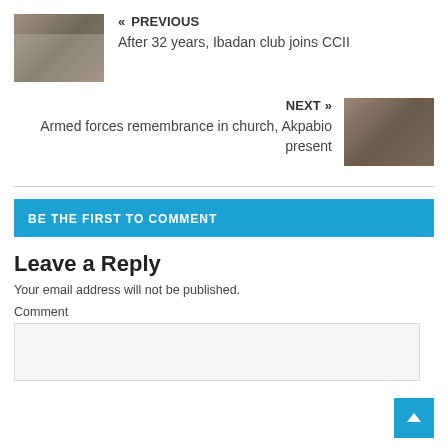« PREVIOUS
After 32 years, Ibadan club joins CCII
NEXT »
Armed forces remembrance in church, Akpabio present
BE THE FIRST TO COMMENT
Leave a Reply
Your email address will not be published.
Comment